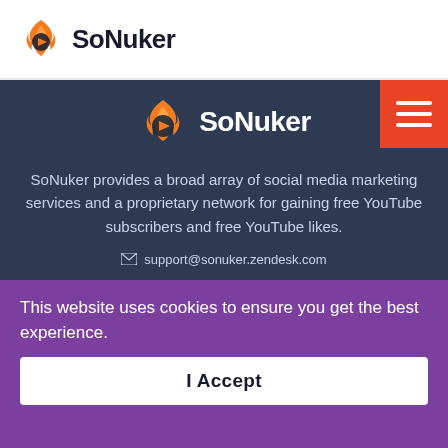SoNuker
[Figure (logo): SoNuker logo with flame/play button icon in orange and text 'SoNuker' in dark color, centered in dark blue section]
SoNuker provides a broad array of social media marketing services and a proprietary network for gaining free YouTube subscribers and free YouTube likes.
support@sonuker.zendesk.com
This website uses cookies to ensure you get the best experience.
I Accept